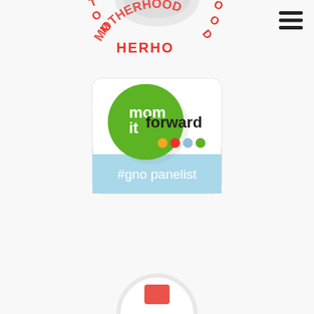[Figure (logo): Partial 'Motherhood' circular logo at top center with red lettering and baby shoe illustration, partially cropped]
[Figure (logo): Hamburger/menu icon (three horizontal lines) in top right corner]
[Figure (logo): Mom it Forward #gno panelist badge - rounded rectangle with green circle logo, colored dots, and light blue bottom section with white text '#gno panelist']
[Figure (logo): Partially visible circular logo/badge at bottom center, mostly cropped, showing an orange/red icon]